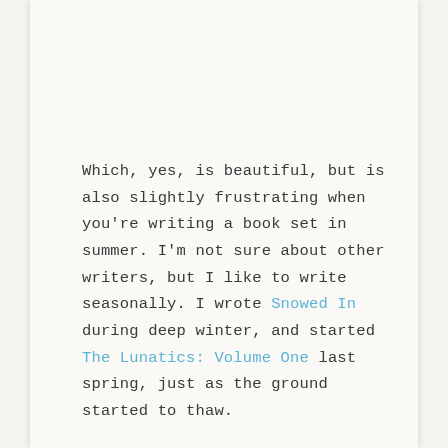Which, yes, is beautiful, but is also slightly frustrating when you're writing a book set in summer. I'm not sure about other writers, but I like to write seasonally. I wrote Snowed In during deep winter, and started The Lunatics: Volume One last spring, just as the ground started to thaw.
Thanks to the pomodoro method, which I talked about in my last YouTube video, I've been doing really well with my writing. This work